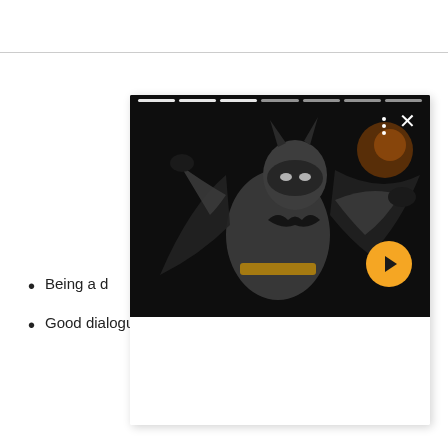[Figure (screenshot): A screenshot of a mobile story/slideshow viewer showing a Batman action figure against a dark background. The viewer has a multi-segment progress bar at the top, a three-dot menu button, an X close button, and a yellow/orange circular next arrow button at the bottom right. Below the image area is a white content panel.]
Being a d[obscured by overlay] you.
Good dialogue isn't really your thing.